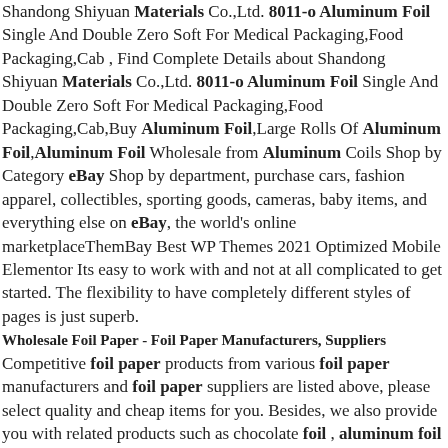Shandong Shiyuan Materials Co.,Ltd. 8011-o Aluminum Foil Single And Double Zero Soft For Medical Packaging,Food Packaging,Cab , Find Complete Details about Shandong Shiyuan Materials Co.,Ltd. 8011-o Aluminum Foil Single And Double Zero Soft For Medical Packaging,Food Packaging,Cab,Buy Aluminum Foil,Large Rolls Of Aluminum Foil,Aluminum Foil Wholesale from Aluminum Coils Shop by Category eBay Shop by department, purchase cars, fashion apparel, collectibles, sporting goods, cameras, baby items, and everything else on eBay, the world's online marketplaceThemBay Best WP Themes 2021 Optimized Mobile Elementor Its easy to work with and not at all complicated to get started. The flexibility to have completely different styles of pages is just superb.
Wholesale Foil Paper - Foil Paper Manufacturers, Suppliers
Competitive foil paper products from various foil paper manufacturers and foil paper suppliers are listed above, please select quality and cheap items for you. Besides, we also provide you with related products such as chocolate foil , aluminum foil paper for